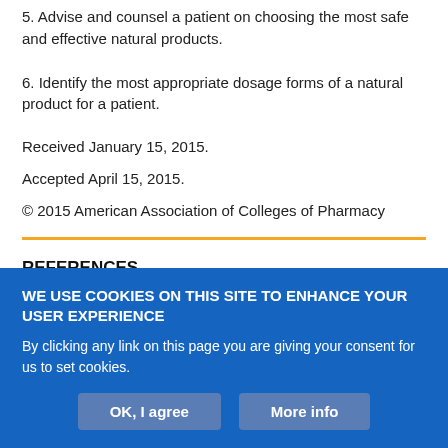5. Advise and counsel a patient on choosing the most safe and effective natural products.
6. Identify the most appropriate dosage forms of a natural product for a patient.
Received January 15, 2015.
Accepted April 15, 2015.
© 2015 American Association of Colleges of Pharmacy
REFERENCES
1. Moquin B, Blackman MR, Mitty E, Flores S. Complementary and
[Figure (other): Cookie consent banner overlay with blue background. Title: 'WE USE COOKIES ON THIS SITE TO ENHANCE YOUR USER EXPERIENCE'. Body: 'By clicking any link on this page you are giving your consent for us to set cookies.' Two buttons: 'OK, I agree' and 'More info'.]